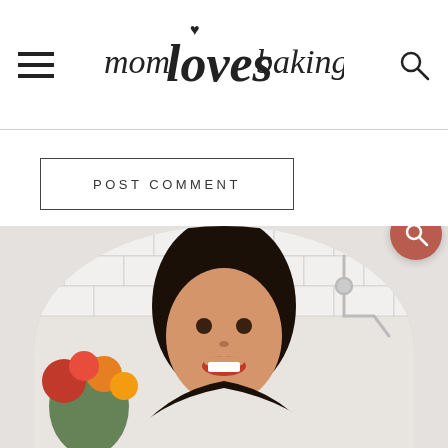mom loves baking
POST COMMENT
[Figure (photo): A woman with dark hair and bangs, smiling, shown from shoulders up in a kitchen setting with white subway tile, a pot filler faucet, and colorful flowers (red and orange roses, ferns) in the lower left. The photo is cropped in a circular arc at the bottom of the page.]